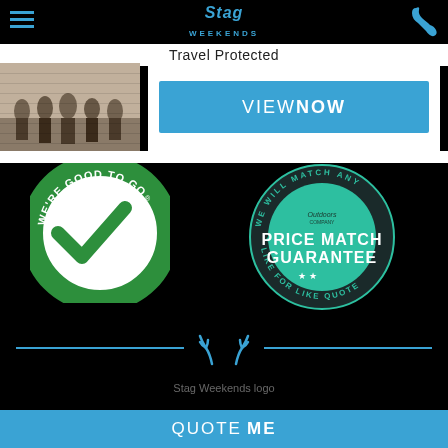[Figure (logo): Stag Weekends logo with hamburger menu and phone icon in black header bar]
Travel Protected
[Figure (photo): Vintage black and white photograph of a group of people on a stage or venue]
[Figure (logo): Blue VIEW NOW button]
[Figure (logo): We're Good To Go - Visit England circular badge with green checkmark]
[Figure (logo): Price Match Guarantee circular teal badge - We will match any like for like quote]
[Figure (logo): Stag antler icon divider in teal/blue]
Stag Weekends logo
QUOTE ME